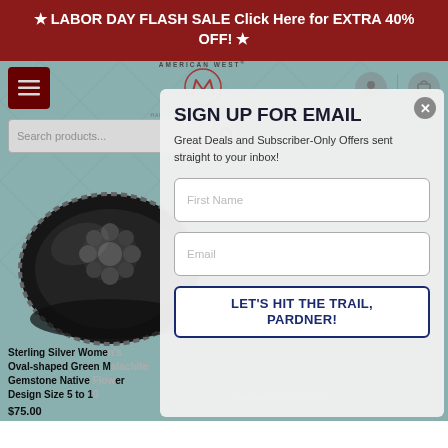★ LABOR DAY FLASH SALE Click Here for EXTRA 40% OFF! ★
[Figure (screenshot): American West Jewelry website with navigation bar, hamburger menu, logo, search bar, and product images of sterling silver rings in the background]
SIGN UP FOR EMAIL
Great Deals and Subscriber-Only Offers sent straight to your inbox!
First Name
Email
LET'S HIT THE TRAIL, PARDNER!
Sterling Silver Women's Oval-shaped Green Malachite Gemstone Native Flower Design Size 5 to 10
$75.00